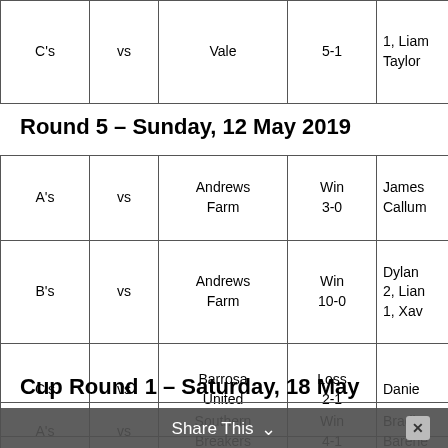| Team |  | Opponent | Result | Scorers |
| --- | --- | --- | --- | --- |
| C's | vs | Vale | 5-1 | 1, Liam Taylor |
Round 5 – Sunday, 12 May 2019
| Team |  | Opponent | Result | Scorers |
| --- | --- | --- | --- | --- |
| A's | vs | Andrews Farm | Win 3-0 | James Callum |
| B's | vs | Andrews Farm | Win 10-0 | Dylan 2, Liam 2, 1, Xav |
| C's | vs | Barrosa United | Loss 2-1 | Daniel |
Cup Round 1 – Saturday, 18 May
| Team |  | Opponent | Result | Scorers |
| --- | --- | --- | --- | --- |
| A's | vs | Southern Breakers | Win 4-1 | Bradle Barene |